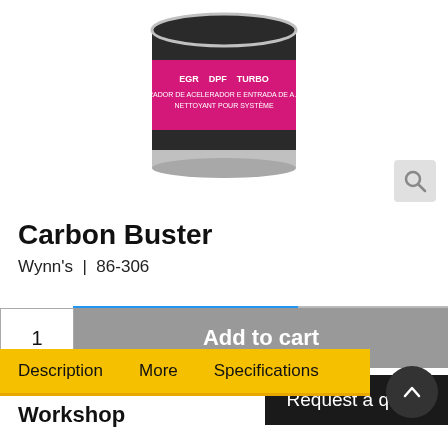[Figure (photo): Product photo of Wynn's Carbon Buster can with pink and black label showing EGR, DPF, TURBO text and multilingual description]
Carbon Buster
Wynn's  |  86-306
1
Add to cart
Request a quote
Description   More   Specifications
Workshop